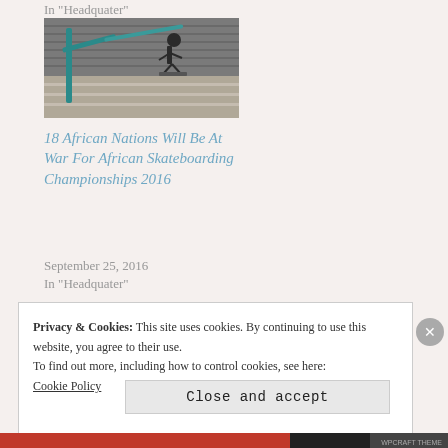In "Headquater"
[Figure (photo): Skateboarder performing a trick on outdoor stairs with metal railings and shuttered background]
18 African Nations Will Be At War For African Skateboarding Championships 2016
September 25, 2016
In "Headquater"
Privacy & Cookies: This site uses cookies. By continuing to use this website, you agree to their use.
To find out more, including how to control cookies, see here:
Cookie Policy
Close and accept